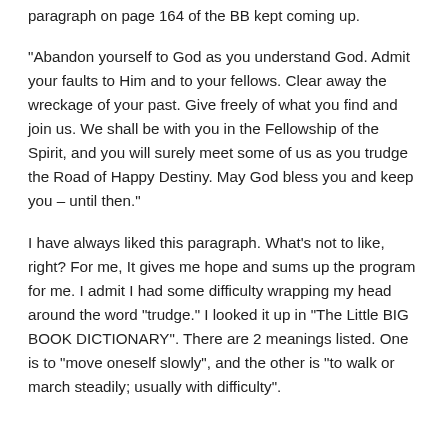paragraph on page 164 of the BB kept coming up.
“Abandon yourself to God as you understand God. Admit your faults to Him and to your fellows. Clear away the wreckage of your past. Give freely of what you find and join us. We shall be with you in the Fellowship of the Spirit, and you will surely meet some of us as you trudge the Road of Happy Destiny. May God bless you and keep you – until then.”
I have always liked this paragraph. What’s not to like, right? For me, It gives me hope and sums up the program for me. I admit I had some difficulty wrapping my head around the word “trudge.” I looked it up in “The Little BIG BOOK DICTIONARY”. There are 2 meanings listed. One is to “move oneself slowly”, and the other is “to walk or march steadily; usually with difficulty”.